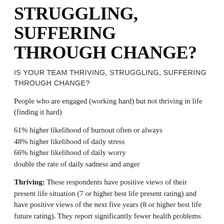STRUGGLING, SUFFERING THROUGH CHANGE?
IS YOUR TEAM THRIVING, STRUGGLING, SUFFERING THROUGH CHANGE?
People who are engaged (working hard) but not thriving in life (finding it hard)
61% higher likelihood of burnout often or always
48% higher likelihood of daily stress
66% higher likelihood of daily worry
double the rate of daily sadness and anger
Thriving: These respondents have positive views of their present life situation (7 or higher best life present rating) and have positive views of the next five years (8 or higher best life future rating). They report significantly fewer health problems and less worry, stress, sadness, depression and anger. They